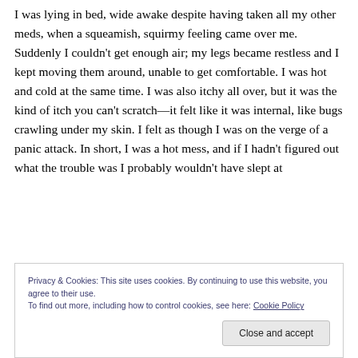I was lying in bed, wide awake despite having taken all my other meds, when a squeamish, squirmy feeling came over me. Suddenly I couldn't get enough air; my legs became restless and I kept moving them around, unable to get comfortable. I was hot and cold at the same time. I was also itchy all over, but it was the kind of itch you can't scratch—it felt like it was internal, like bugs crawling under my skin. I felt as though I was on the verge of a panic attack. In short, I was a hot mess, and if I hadn't figured out what the trouble was I probably wouldn't have slept at
Privacy & Cookies: This site uses cookies. By continuing to use this website, you agree to their use.
To find out more, including how to control cookies, see here: Cookie Policy
Close and accept